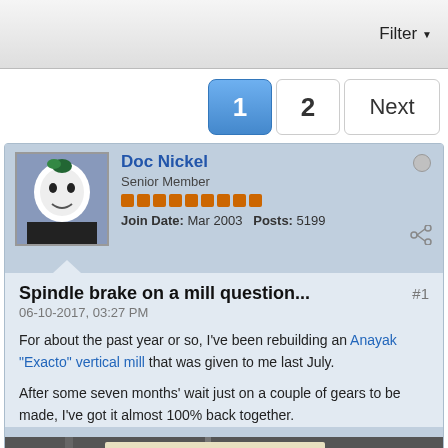Filter ▼
1  2  Next
Doc Nickel
Senior Member
Join Date: Mar 2003  Posts: 5199
Spindle brake on a mill question...
06-10-2017, 03:27 PM
For about the past year or so, I've been rebuilding an Anayak "Exacto" vertical mill that was given to me last July.
After some seven months' wait just on a couple of gears to be made, I've got it almost 100% back together.
[Figure (photo): Photo of a mill machine, showing metallic cylindrical components, likely the spindle area of the mill being discussed.]